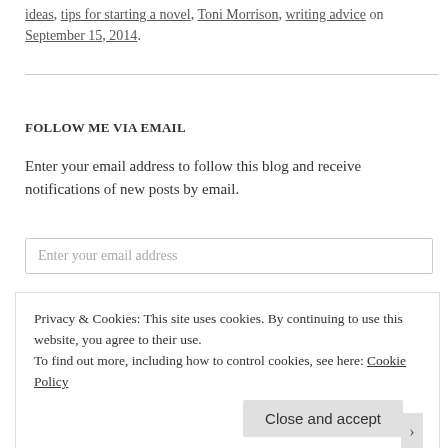ideas, tips for starting a novel, Toni Morrison, writing advice on September 15, 2014.
FOLLOW ME VIA EMAIL
Enter your email address to follow this blog and receive notifications of new posts by email.
Enter your email address
Privacy & Cookies: This site uses cookies. By continuing to use this website, you agree to their use.
To find out more, including how to control cookies, see here: Cookie Policy
Close and accept